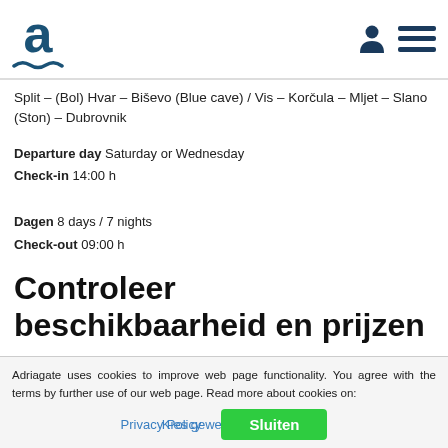Adriagate logo, user icon, menu icon
Split – (Bol) Hvar – Biševo (Blue cave) / Vis – Korčula – Mljet – Slano (Ston) – Dubrovnik
Departure day Saturday or Wednesday
Check-in 14:00 h
Dagen 8 days / 7 nights
Check-out 09:00 h
Controleer beschikbaarheid en prijzen
Adriagate uses cookies to improve web page functionality. You agree with the terms by further use of our web page. Read more about cookies on: Privacy Policy  Sluiten